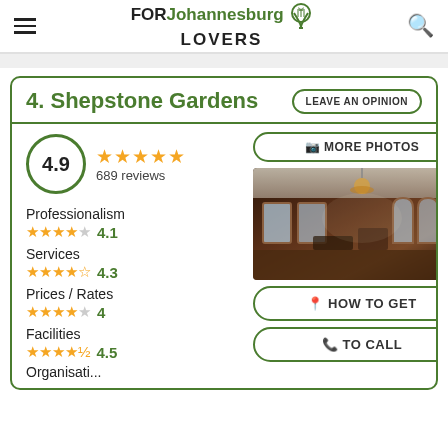FOR Johannesburg LOVERS
4. Shepstone Gardens
LEAVE AN OPINION
4.9 — 689 reviews
MORE PHOTOS
Professionalism
4.1
Services
4.3
Prices / Rates
4
Facilities
4.5
[Figure (photo): Interior of Shepstone Gardens venue showing a chandeliered room with wooden floors and arched windows]
HOW TO GET
TO CALL